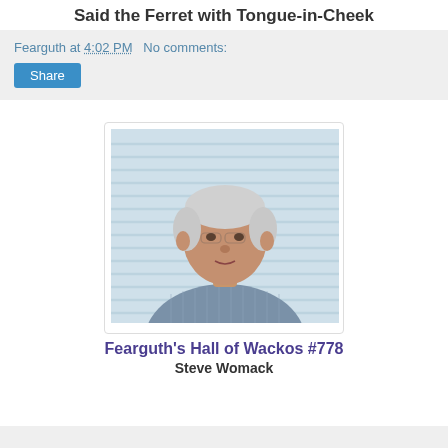Said the Ferret with Tongue-in-Cheek
Fearguth at 4:02 PM   No comments:
[Figure (photo): Middle-aged man with white/gray hair wearing a blue-gray striped button-down shirt, sitting or standing near window blinds in the background.]
Fearguth's Hall of Wackos #778
Steve Womack